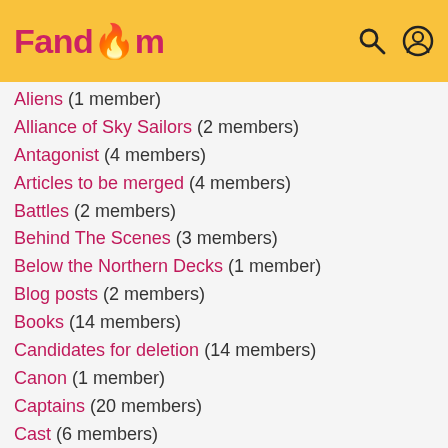Fandom
Aliens (1 member)
Alliance of Sky Sailors (2 members)
Antagonist (4 members)
Articles to be merged (4 members)
Battles (2 members)
Behind The Scenes (3 members)
Below the Northern Decks (1 member)
Blog posts (2 members)
Books (14 members)
Candidates for deletion (14 members)
Canon (1 member)
Captains (20 members)
Cast (6 members)
Character (4 members)
Characters (96 members)
Cogs-Folk (7 members)
Community (0 members)
Creators (3 members)
Crew (23 members)
Crewmen (0 members)
Devania (14 members)
Disciplinaries (3 members)